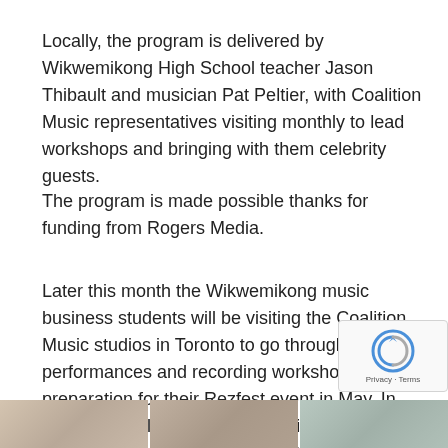Locally, the program is delivered by Wikwemikong High School teacher Jason Thibault and musician Pat Peltier, with Coalition Music representatives visiting monthly to lead workshops and bringing with them celebrity guests.
The program is made possible thanks for funding from Rogers Media.
Later this month the Wikwemikong music business students will be visiting the Coalition Music studios in Toronto to go through some performances and recording workshops in preparation for their Rezfest event in May. In June, they will return to the studio to record the songs they've written throughout their semester alongside professional producers and recording engineers.
[Figure (photo): Three partially visible thumbnail photos at the bottom of the page]